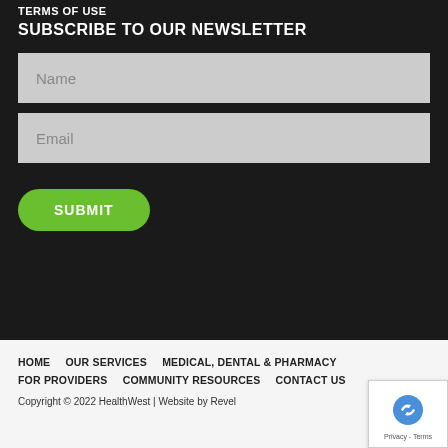TERMS OF USE
SUBSCRIBE TO OUR NEWSLETTER
Name
Email
SUBMIT
HOME    OUR SERVICES    MEDICAL, DENTAL & PHARMACY    FOR PROVIDERS    COMMUNITY RESOURCES    CONTACT US
Copyright © 2022 HealthWest | Website by Revel